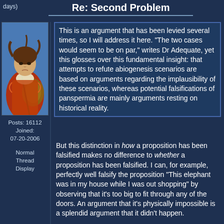days)
Re: Second Problem
[Figure (illustration): A fantasy-style illustration of a woman warrior with a shield and staff, wearing red and orange clothing, set against a blue sky background]
Posts: 16112
Joined:
07-20-2006
Normal Thread Display
This is an argument that has been levied several times, so I will address it here. "The two cases would seem to be on par," writes Dr Adequate, yet this glosses over this fundamental insight: that attempts to refute abiogenesis scenarios are based on arguments regarding the implausibility of these scenarios, whereas potential falsifications of panspermia are mainly arguments resting on historical reality.
But this distinction in how a proposition has been falsified makes no difference to whether a proposition has been falsified. I can, for example, perfectly well falsify the proposition "This elephant was in my house while I was out shopping" by observing that it's too big to fit through any of the doors. An argument that it's physically impossible is a splendid argument that it didn't happen.